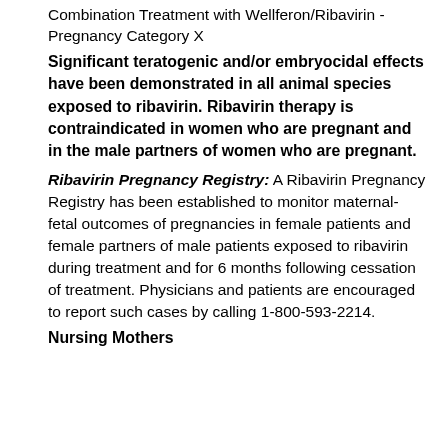Combination Treatment with Wellferon/Ribavirin - Pregnancy Category X
Significant teratogenic and/or embryocidal effects have been demonstrated in all animal species exposed to ribavirin. Ribavirin therapy is contraindicated in women who are pregnant and in the male partners of women who are pregnant.
Ribavirin Pregnancy Registry: A Ribavirin Pregnancy Registry has been established to monitor maternal-fetal outcomes of pregnancies in female patients and female partners of male patients exposed to ribavirin during treatment and for 6 months following cessation of treatment. Physicians and patients are encouraged to report such cases by calling 1-800-593-2214.
Nursing Mothers